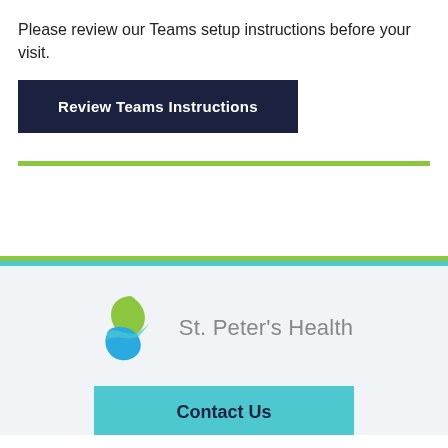Please review our Teams setup instructions before your visit.
Review Teams Instructions
[Figure (logo): St. Peter's Health logo with green and blue leaf shapes and gray text]
Contact Us